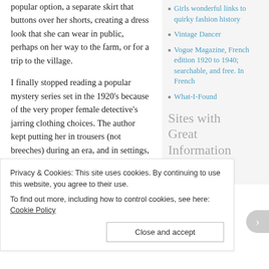popular option, a separate skirt that buttons over her shorts, creating a dress look that she can wear in public, perhaps on her way to the farm, or for a trip to the village.
I finally stopped reading a popular mystery series set in the 1920’s because of the very proper female detective’s jarring clothing choices. The author kept putting her in trousers (not breeches) during an era, and in settings, where they would have made her very conspicuous — not to say scandalous. [E.g., alone in London or a rural French village.]
Although fashion magazines like Delineator
Girls wonderful links to quirky fashion history
Vintage Dancer
Vogue Magazine, French edition 1920 to 1940; searchable, and free. In French
What-I-Found
Sites with Great Information
Andre Studios
Privacy & Cookies: This site uses cookies. By continuing to use this website, you agree to their use.
To find out more, including how to control cookies, see here: Cookie Policy
Close and accept